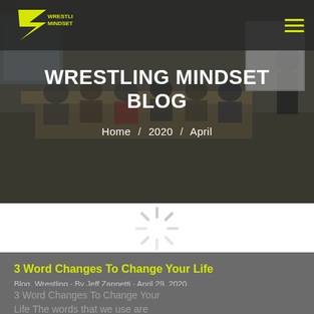Wrestling Mindset [logo] [hamburger menu]
WRESTLING MINDSET BLOG
Home / 2020 / April
[Figure (photo): Loading spinner on white background]
3 Word Changes To Change Your Life
Blog, Wrestling · By Jeff Zannetti · April 29, 2020
3 Word Changes To Change Your Life  The words that we use are